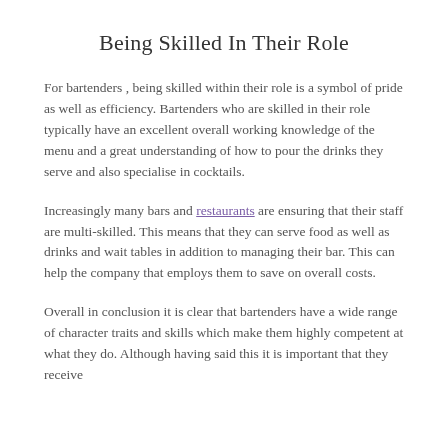Being Skilled In Their Role
For bartenders , being skilled within their role is a symbol of pride as well as efficiency. Bartenders who are skilled in their role typically have an excellent overall working knowledge of the menu and a great understanding of how to pour the drinks they serve and also specialise in cocktails.
Increasingly many bars and restaurants are ensuring that their staff are multi-skilled. This means that they can serve food as well as drinks and wait tables in addition to managing their bar. This can help the company that employs them to save on overall costs.
Overall in conclusion it is clear that bartenders have a wide range of character traits and skills which make them highly competent at what they do. Although having said this it is important that they receive